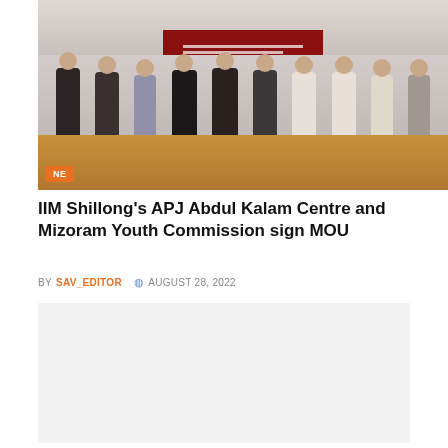[Figure (photo): Group photo of officials at a conference table signing an MOU, with a red banner on the wall behind them. An orange 'NE' badge is visible in the lower left corner of the photo.]
IIM Shillong's APJ Abdul Kalam Centre and Mizoram Youth Commission sign MOU
BY SAV_EDITOR  AUGUST 28, 2022